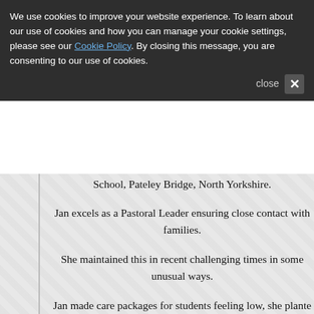We use cookies to improve your website experience. To learn about our use of cookies and how you can manage your cookie settings, please see our Cookie Policy. By closing this message, you are consenting to our use of cookies. close ×
School, Pateley Bridge, North Yorkshire.
Jan excels as a Pastoral Leader ensuring close contact with families.
She maintained this in recent challenging times in some unusual ways.
Jan made care packages for students feeling low, she planted pastoral pamper hampers, wrote recognition postcards, sent letters and care for those who were bereaved and study packages for for exams.
Every single student known to her received a reminder of someone know that she was there.